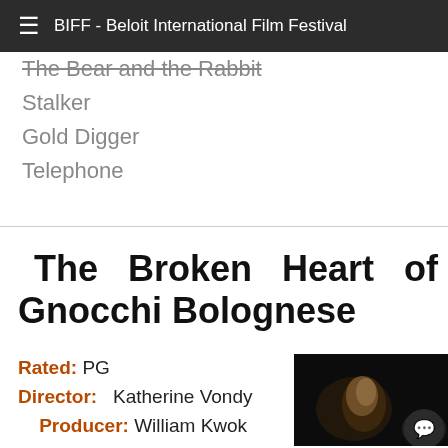BIFF - Beloit International Film Festival
The Bear and the Rabbit
Stalker
Gold Digger
Telephone
The Broken Heart of Gnocchi Bolognese
Rated: PG Director: Katherine Vondy Producer: William Kwok Length: 19 min
[Figure (photo): Dark film still showing a person with blonde hair, dimly lit with warm orange tones in background]